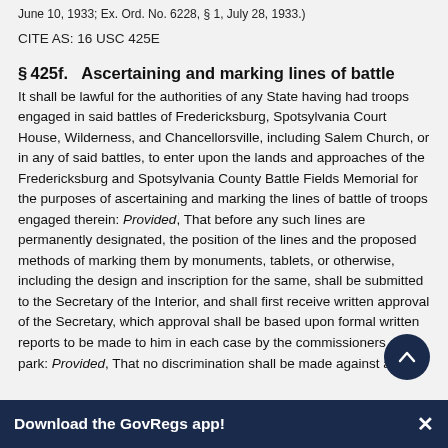June 10, 1933; Ex. Ord. No. 6228, § 1, July 28, 1933.)
CITE AS: 16 USC 425E
§ 425f.   Ascertaining and marking lines of battle
It shall be lawful for the authorities of any State having had troops engaged in said battles of Fredericksburg, Spotsylvania Court House, Wilderness, and Chancellorsville, including Salem Church, or in any of said battles, to enter upon the lands and approaches of the Fredericksburg and Spotsylvania County Battle Fields Memorial for the purposes of ascertaining and marking the lines of battle of troops engaged therein: Provided, That before any such lines are permanently designated, the position of the lines and the proposed methods of marking them by monuments, tablets, or otherwise, including the design and inscription for the same, shall be submitted to the Secretary of the Interior, and shall first receive written approval of the Secretary, which approval shall be based upon formal written reports to be made to him in each case by the commissioners of the park: Provided, That no discrimination shall be made against any
Download the GovRegs app!